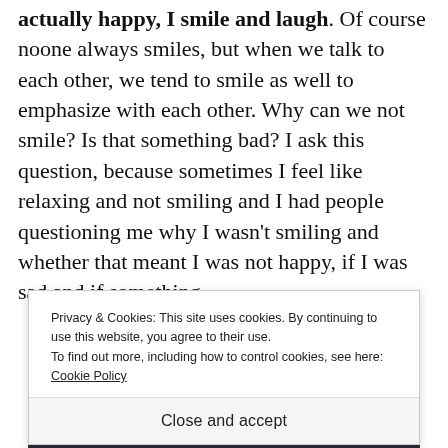actually happy, I smile and laugh. Of course noone always smiles, but when we talk to each other, we tend to smile as well to emphasize with each other. Why can we not smile? Is that something bad? I ask this question, because sometimes I feel like relaxing and not smiling and I had people questioning me why I wasn't smiling and whether that meant I was not happy, if I was sad and if something
Privacy & Cookies: This site uses cookies. By continuing to use this website, you agree to their use. To find out more, including how to control cookies, see here: Cookie Policy
Close and accept